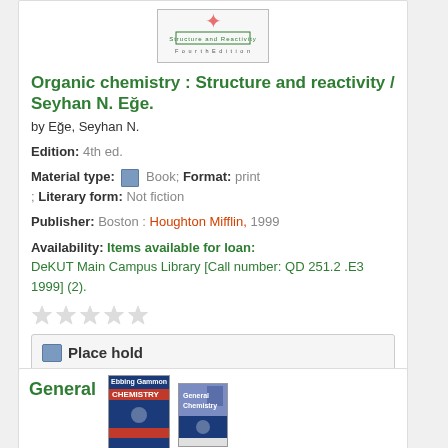[Figure (illustration): Book cover thumbnail for Organic chemistry: Structure and Reactivity, Fourth Edition]
Organic chemistry : Structure and reactivity / Seyhan N. Eğe.
by Eğe, Seyhan N.
Edition: 4th ed.
Material type: Book; Format: print ; Literary form: Not fiction
Publisher: Boston : Houghton Mifflin, 1999
Availability: Items available for loan: DeKUT Main Campus Library [Call number: QD 251.2 .E3 1999] (2).
[Figure (illustration): Five empty star rating icons]
Place hold
Add to cart
General
[Figure (illustration): Two book cover thumbnails for General Chemistry textbooks]